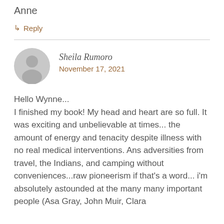Anne
↳ Reply
Sheila Rumoro
November 17, 2021
Hello Wynne...
I finished my book! My head and heart are so full. It was exciting and unbelievable at times... the amount of energy and tenacity despite illness with no real medical interventions. Ans adversities from travel, the Indians, and camping without conveniences...raw pioneerism if that's a word... i'm absolutely astounded at the many many important people (Asa Gray, John Muir, Clara